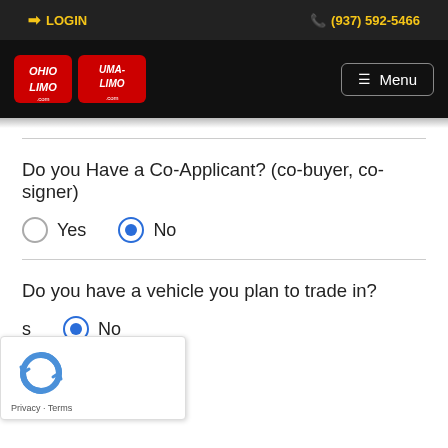LOGIN | (937) 592-5466
[Figure (logo): Ohio Limo and Uma-Limo logos on black navigation bar with Menu button]
Do you Have a Co-Applicant? (co-buyer, co-signer)
Yes (unselected) | No (selected)
Do you have a vehicle you plan to trade in?
s (partially visible) | No (selected)
[Figure (other): reCAPTCHA widget with Privacy and Terms links]